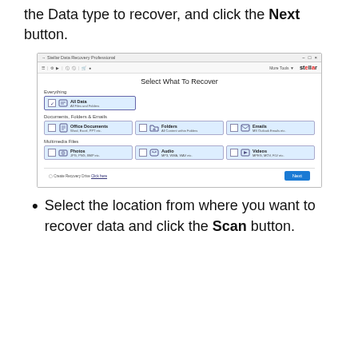the Data type to recover, and click the Next button.
[Figure (screenshot): Screenshot of Stellar Data Recovery Professional application showing 'Select What To Recover' screen with options: Everything (All Data - All Files and Folders), Documents Folders & Emails (Office Documents, Folders, Emails), Multimedia Files (Photos, Audio, Videos), and a Next button at bottom right.]
Select the location from where you want to recover data and click the Scan button.